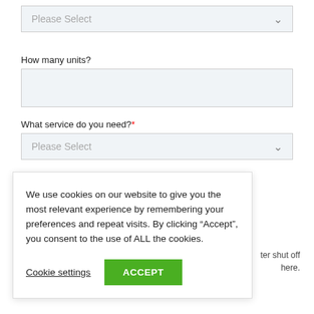[Figure (screenshot): Web form with a dropdown 'Please Select' at top, a 'How many units?' text input, a 'What service do you need?*' dropdown with 'Please Select', a partially visible 'Type of Utility:*' label, and a cookie consent modal overlay with text and Accept button.]
How many units?
What service do you need?*
Type of Utility:*
We use cookies on our website to give you the most relevant experience by remembering your preferences and repeat visits. By clicking “Accept”, you consent to the use of ALL the cookies.
Cookie settings
ACCEPT